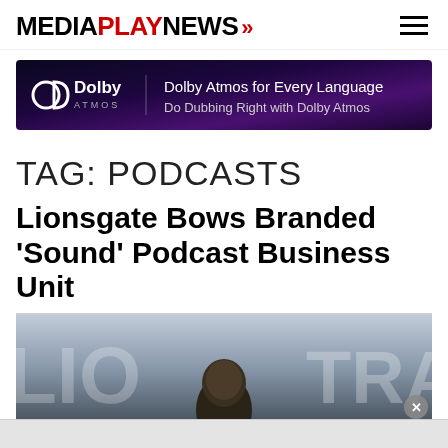MEDIAPLAYNEWS >>
[Figure (other): Dolby Atmos advertisement banner with purple/dark background. Shows Dolby Atmos logo on left and text 'Dolby Atmos for Every Language / Do Dubbing Right with Dolby Atmos' on right.]
TAG: PODCASTS
Lionsgate Bows Branded 'Sound' Podcast Business Unit
[Figure (photo): Partial photo showing a person (head/shoulders visible at bottom center) against a blurred background with large letters/signage visible including 'TRA'. A grey close button (x) appears in the lower right corner of the image area.]